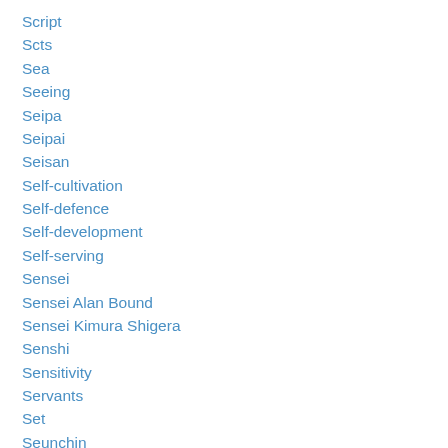Script
Scts
Sea
Seeing
Seipa
Seipai
Seisan
Self-cultivation
Self-defence
Self-development
Self-serving
Sensei
Sensei Alan Bound
Sensei Kimura Shigera
Senshi
Sensitivity
Servants
Set
Seunchin
Severe